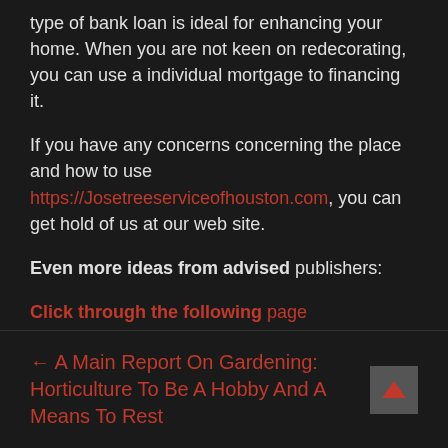type of bank loan is ideal for enhancing your home. When you are not keen on redecorating, you can use a individual mortgage to financing it.
If you have any concerns concerning the place and how to use https://Josetreeserviceofhouston.com, you can get hold of us at our web site.
Even more ideas from advised publishers:
Click through the following page
click
← A Main Report On Gardening: Horticulture To Be A Hobby And A Means To Rest